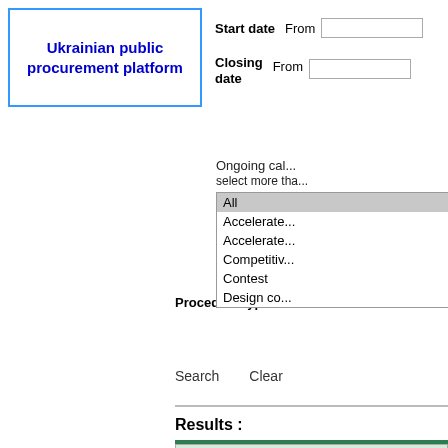[Figure (logo): Ukrainian public procurement platform logo box with blue border]
Start date   From [input field]
Closing date   From [input field]
Ongoing cal... select more tha...
Procedure type
All
Accelerate...
Accelerate...
Competitiv...
Contest
Design co...
Search   Clear
Results :
Results per page: 10 | 25 | 50
8,110 Calls for tenders found, displaying 6,7...
| Tender reference number |
| --- |